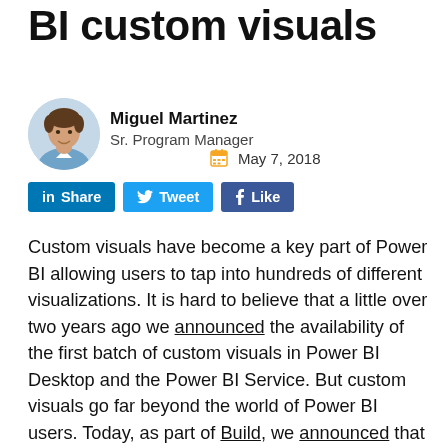BI custom visuals
[Figure (photo): Headshot photo of Miguel Martinez]
Miguel Martinez
Sr. Program Manager
May 7, 2018
in Share  Tweet  f Like
Custom visuals have become a key part of Power BI allowing users to tap into hundreds of different visualizations. It is hard to believe that a little over two years ago we announced the availability of the first batch of custom visuals in Power BI Desktop and the Power BI Service. But custom visuals go far beyond the world of Power BI users. Today, as part of Build, we announced that Power BI Custom Visuals will be rolling out in Preview to Office 365 subscribers enrolled in the Office Insiders program soon, extending Excel charting capabilities and more than doubling the data visualization options for the